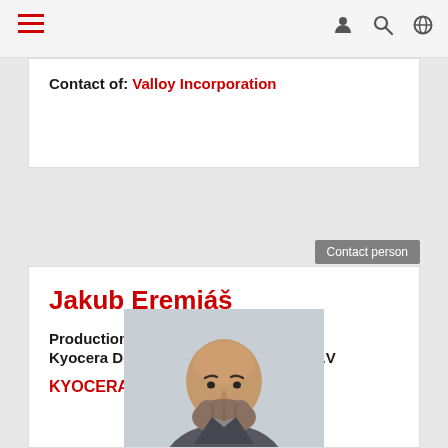Navigation bar with hamburger menu and icons
Contact of: Valloy Incorporation
Contact person
Jakub Eremiáš
Production Print Director
Kyocera Document Solutions Czech B.V
KYOCERA Document Solutions Inc.
[Figure (photo): Portrait photo of Jakub Eremiáš, a bald man with a beard]